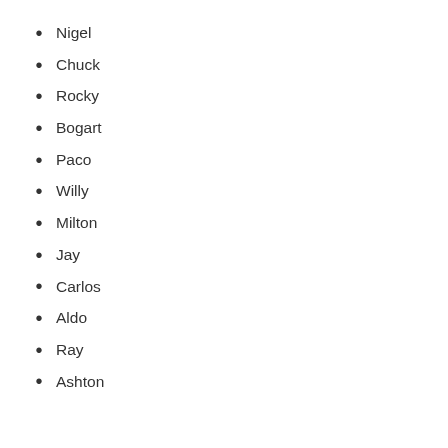Nigel
Chuck
Rocky
Bogart
Paco
Willy
Milton
Jay
Carlos
Aldo
Ray
Ashton